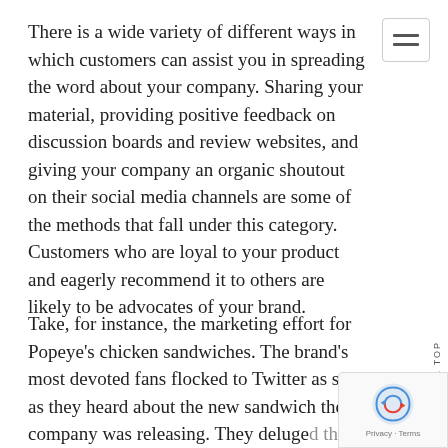There is a wide variety of different ways in which customers can assist you in spreading the word about your company. Sharing your material, providing positive feedback on discussion boards and review websites, and giving your company an organic shoutout on their social media channels are some of the methods that fall under this category. Customers who are loyal to your product and eagerly recommend it to others are likely to be advocates of your brand.
Take, for instance, the marketing effort for Popeye's chicken sandwiches. The brand's most devoted fans flocked to Twitter as soon as they heard about the new sandwich the company was releasing. They deluged the website with complimentary reviews and memes, which sparked a social media conflict with its rival Chick-fil-A...